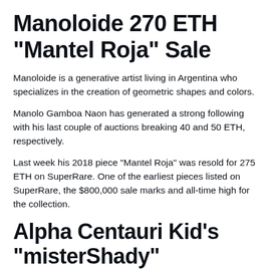Manoloide 270 ETH "Mantel Roja" Sale
Manoloide is a generative artist living in Argentina who specializes in the creation of geometric shapes and colors.
Manolo Gamboa Naon has generated a strong following with his last couple of auctions breaking 40 and 50 ETH, respectively.
Last week his 2018 piece "Mantel Roja" was resold for 275 ETH on SuperRare. One of the earliest pieces listed on SuperRare, the $800,000 sale marks and all-time high for the collection.
Alpha Centauri Kid's "misterShady"
Famous digital artist @lphaCentauriKid has begun to auction